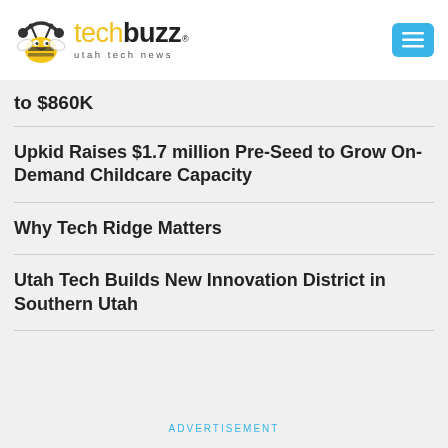techbuzz utah tech news
to $860K
Upkid Raises $1.7 million Pre-Seed to Grow On-Demand Childcare Capacity
Why Tech Ridge Matters
Utah Tech Builds New Innovation District in Southern Utah
ADVERTISEMENT